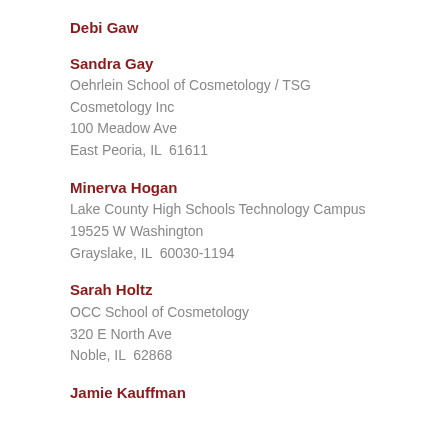Debi Gaw
Sandra Gay
Oehrlein School of Cosmetology / TSG Cosmetology Inc
100 Meadow Ave
East Peoria, IL  61611
Minerva Hogan
Lake County High Schools Technology Campus
19525 W Washington
Grayslake, IL  60030-1194
Sarah Holtz
OCC School of Cosmetology
320 E North Ave
Noble, IL  62868
Jamie Kauffman